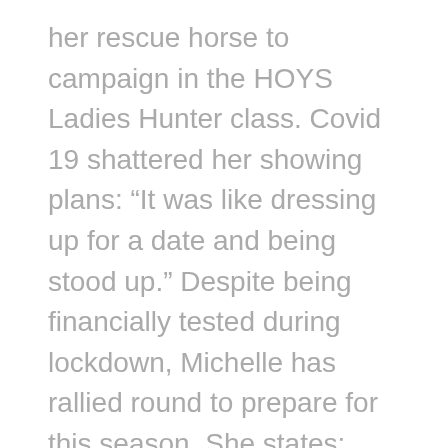her rescue horse to campaign in the HOYS Ladies Hunter class. Covid 19 shattered her showing plans: “It was like dressing up for a date and being stood up.” Despite being financially tested during lockdown, Michelle has rallied round to prepare for this season. She states: “Horses are one of life’s privileges and not a necessity and to think that we are so very lucky to have a horse as our escape or a conversation starter has been a lot of people’s sanity during Covid19. We all like to paint this super happy life on social media but behind closed doors there’s challenge. As a community, I like that we are very niche which is special. Not everyone understands it but there has been a lot of virtual hugging that has kept me going in darker time, and